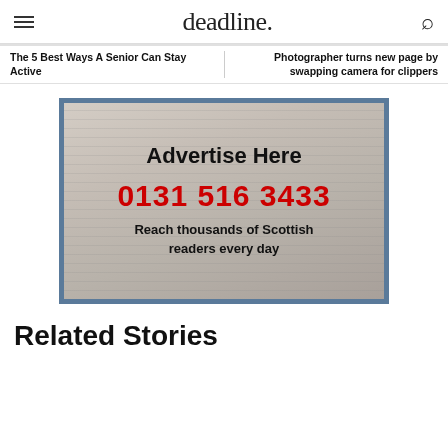deadline.
The 5 Best Ways A Senior Can Stay Active
Photographer turns new page by swapping camera for clippers
[Figure (illustration): Advertisement banner with newspaper background showing 'Advertise Here', phone number '0131 516 3433' in red, and tagline 'Reach thousands of Scottish readers every day']
Related Stories